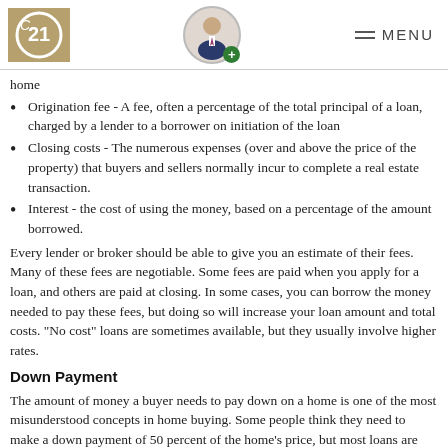Century 21 logo, agent photo, MENU
home
Origination fee - A fee, often a percentage of the total principal of a loan, charged by a lender to a borrower on initiation of the loan
Closing costs - The numerous expenses (over and above the price of the property) that buyers and sellers normally incur to complete a real estate transaction.
Interest - the cost of using the money, based on a percentage of the amount borrowed.
Every lender or broker should be able to give you an estimate of their fees. Many of these fees are negotiable. Some fees are paid when you apply for a loan, and others are paid at closing. In some cases, you can borrow the money needed to pay these fees, but doing so will increase your loan amount and total costs. "No cost" loans are sometimes available, but they usually involve higher rates.
Down Payment
The amount of money a buyer needs to pay down on a home is one of the most misunderstood concepts in home buying. Some people think they need to make a down payment of 50 percent of the home's price, but most loans are based on a 20 percent down payment. There are mortgage options now available that only require a down payment of 5%, or less of the purchase price. If a 20...